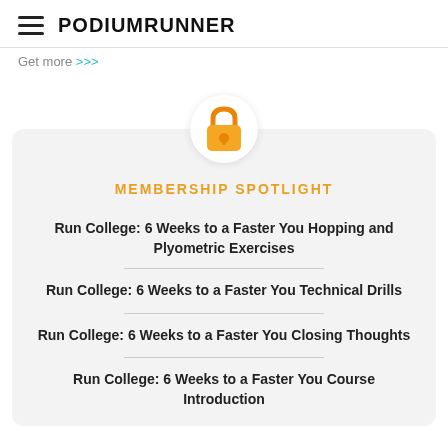PodiumRunner
Get more >>>
[Figure (illustration): Gold padlock icon centered in a white circle]
MEMBERSHIP SPOTLIGHT
Run College: 6 Weeks to a Faster You Hopping and Plyometric Exercises
Run College: 6 Weeks to a Faster You Technical Drills
Run College: 6 Weeks to a Faster You Closing Thoughts
Run College: 6 Weeks to a Faster You Course Introduction